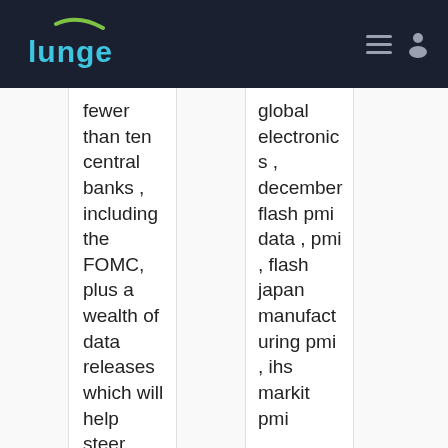Lunge
fewer than ten central banks , including the FOMC, plus a wealth of data releases which will help steer views
global electronics , december flash pmi data , pmi , flash japan manufacturing pmi , ihs markit pmi